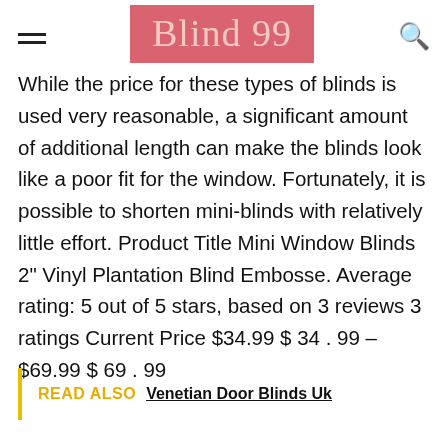Blind 99
While the price for these types of blinds is used very reasonable, a significant amount of additional length can make the blinds look like a poor fit for the window. Fortunately, it is possible to shorten mini-blinds with relatively little effort. Product Title Mini Window Blinds 2" Vinyl Plantation Blind Embosse. Average rating: 5 out of 5 stars, based on 3 reviews 3 ratings Current Price $34.99 $ 34 . 99 – $69.99 $ 69 . 99
READ ALSO  Venetian Door Blinds Uk